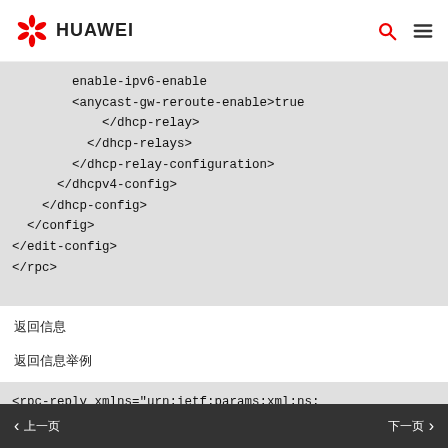HUAWEI
enable-ipv6-enable
        <anycast-gw-reroute-enable>true
            </dhcp-relay>
          </dhcp-relays>
        </dhcp-relay-configuration>
      </dhcpv4-config>
    </dhcp-config>
  </config>
</edit-config>
</rpc>
返回信息
返回信息举例
<rpc-reply xmlns="urn:ietf:params:xml:ns:
  <ok/>
</rpc-reply>
上一页   下一页